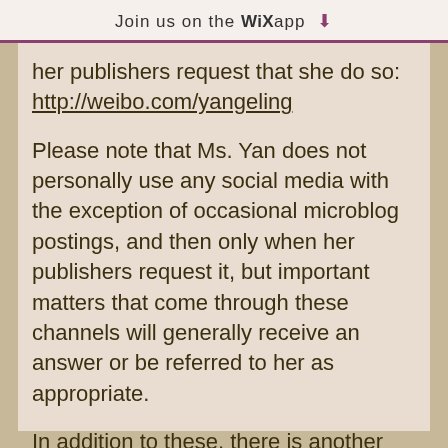Join us on the WiX app ↓
her publishers request that she do so:
http://weibo.com/yangeling

Please note that Ms. Yan does not personally use any social media with the exception of occasional microblog postings, and then only when her publishers request it, but important matters that come through these channels will generally receive an answer or be referred to her as appropriate.

In addition to these, there is another microblog set up by some well-meaning fans of hers in